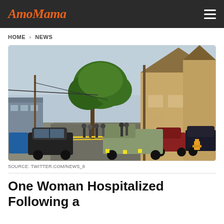AmoMama
HOME > NEWS
[Figure (photo): Crime scene on a residential street with police tape stretched across the road. Several people including law enforcement stand near vehicles. A large yellow building (appears to be a church) is visible on the right side, with a large tree in the center. Multiple vehicles parked along the street.]
SOURCE: TWITTER.COM/NEWS_8
One Woman Hospitalized Following a